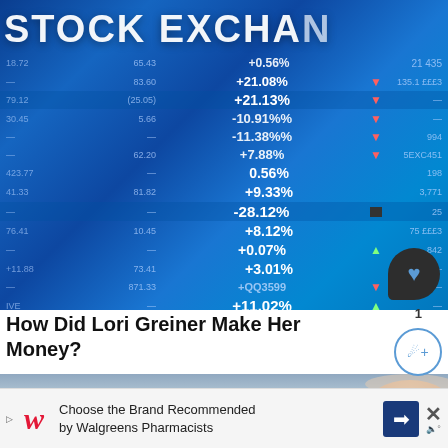[Figure (photo): Stock exchange board showing ticker data with percentage changes, blue toned financial display board with numbers like +0.56%, +9.33%, -28.12%, +8.12%, +0.07%, +3.01%, +11.02%]
How Did Lori Greiner Make Her Money?
[Figure (photo): Partial photo of a person (Lori Greiner) showing top of head/hair against a blue gradient background]
Choose the Brand Recommended by Walgreens Pharmacists